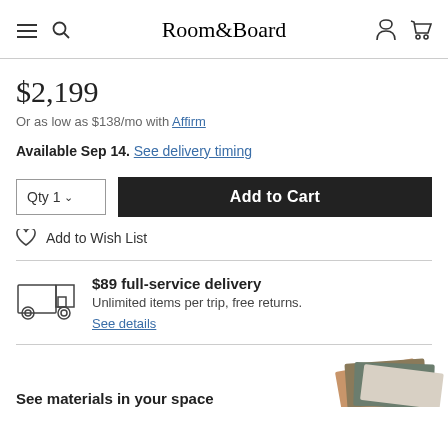Room&Board
$2,199
Or as low as $138/mo with Affirm
Available Sep 14. See delivery timing
Qty 1 ∨   Add to Cart
Add to Wish List
$89 full-service delivery
Unlimited items per trip, free returns.
See details
See materials in your space